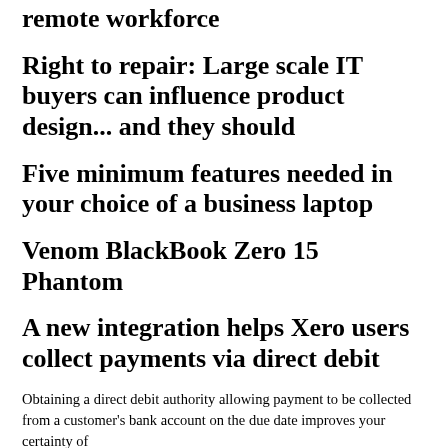remote workforce
Right to repair: Large scale IT buyers can influence product design... and they should
Five minimum features needed in your choice of a business laptop
Venom BlackBook Zero 15 Phantom
A new integration helps Xero users collect payments via direct debit
Obtaining a direct debit authority allowing payment to be collected from a customer's bank account on the due date improves your certainty of